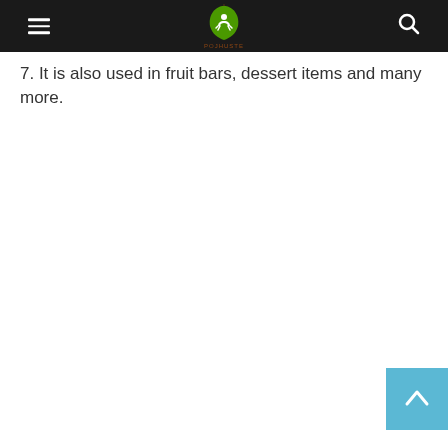7. It is also used in fruit bars, dessert items and many more.